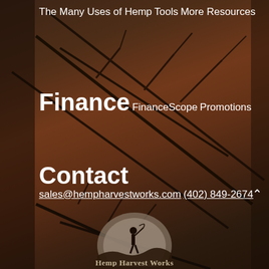The Many Uses of Hemp
Tools
More Resources
Finance
FinanceScope
Promotions
Contact
sales@hempharvestworks.com
(402) 849-2674
[Figure (logo): Hemp Harvest Works logo: silhouette of a farmer with a scythe standing on a hill with a setting sun background, text 'Hemp Harvest Works' below]